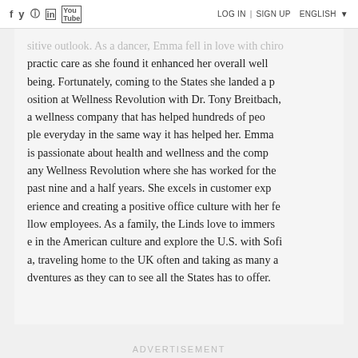f  y  [instagram]  [linkedin]  [youtube]   LOG IN | SIGN UP   ENGLISH
sitive outlook. As a dancer, Emma fell in love with chiropractic care as she found it enhanced her overall well being. Fortunately, coming to the States she landed a position at Wellness Revolution with Dr. Tony Breitbach, a wellness company that has helped hundreds of people everyday in the same way it has helped her. Emma is passionate about health and wellness and the company Wellness Revolution where she has worked for the past nine and a half years. She excels in customer experience and creating a positive office culture with her fellow employees. As a family, the Linds love to immerse in the American culture and explore the U.S. with Sofia, traveling home to the UK often and taking as many adventures as they can to see all the States has to offer.
ADVERTISEMENT